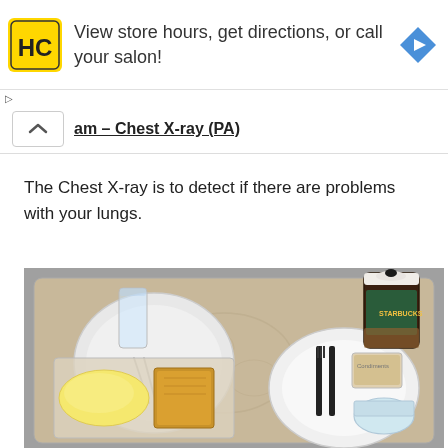[Figure (screenshot): Advertisement banner: HC logo (yellow square with black HC letters), text 'View store hours, get directions, or call your salon!', blue navigation arrow icon on the right]
am – Chest X-ray (PA)
The Chest X-ray is to detect if there are problems with your lungs.
[Figure (photo): Hospital meal tray with scrambled eggs, toast, a white plate with cutlery (black fork and knife), a Starbucks coffee cup, a glass of water, condiment packets, and a small yogurt cup, all on a light beige tray with floral pattern.]